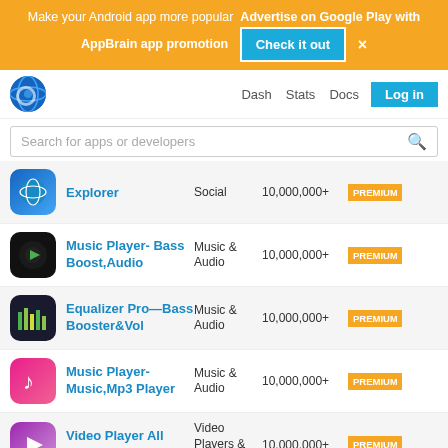Make your Android app more popular  Advertise on Google Play with AppBrain app promotion  Check it out  ×
[Figure (screenshot): AppBrain navigation bar with globe logo and nav links: Dash, Stats, Docs, Log in]
Search for apps or developers
| App Icon | App Name | Category | Installs | Badge |
| --- | --- | --- | --- | --- |
| [globe icon] | Explorer | Social | 10,000,000+ | PREMIUM |
| [music player icon] | Music Player- Bass Boost,Audio | Music & Audio | 10,000,000+ | PREMIUM |
| [equalizer icon] | Equalizer Pro—Bass Booster&Vol | Music & Audio | 10,000,000+ | PREMIUM |
| [music note icon] | Music Player- Music,Mp3 Player | Music & Audio | 10,000,000+ | PREMIUM |
| [video player icon] | Video Player All Format | Video Players & Editors | 10,000,000+ | PREMIUM |
| [camera icon] | HD Camera Selfie Beauty Camera | Photography | 10,000,000+ | PREMIUM |